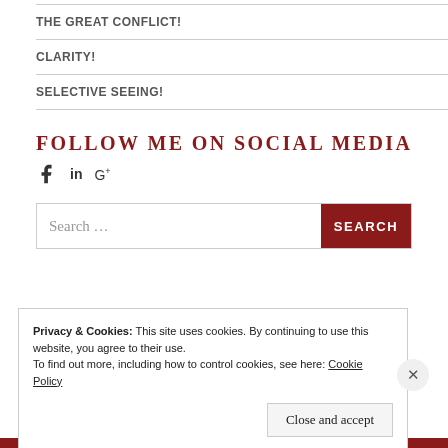THE GREAT CONFLICT!
CLARITY!
SELECTIVE SEEING!
FOLLOW ME ON SOCIAL MEDIA
[Figure (infographic): Social media icons: Facebook, LinkedIn, Google+]
Search ...
Privacy & Cookies: This site uses cookies. By continuing to use this website, you agree to their use.
To find out more, including how to control cookies, see here: Cookie Policy
Close and accept